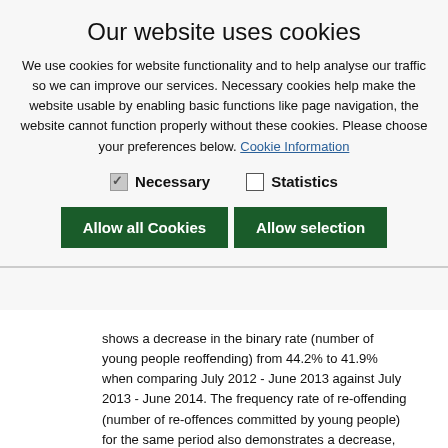Our website uses cookies
We use cookies for website functionality and to help analyse our traffic so we can improve our services. Necessary cookies help make the website usable by enabling basic functions like page navigation, the website cannot function properly without these cookies. Please choose your preferences below. Cookie Information
Necessary  Statistics
Allow all Cookies  Allow selection
shows a decrease in the binary rate (number of young people reoffending) from 44.2% to 41.9% when comparing July 2012 - June 2013 against July 2013 - June 2014. The frequency rate of re-offending (number of re-offences committed by young people) for the same period also demonstrates a decrease, from 1.54 to 1.05.
Performance is positive because both rates have decreased. There has been a decrease in the numbers of young people in the overall cohort (95 down to 86 young people) and a